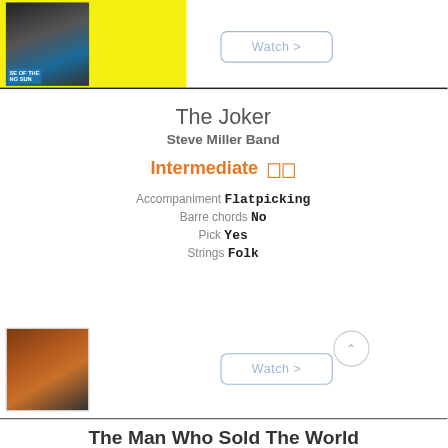[Figure (screenshot): Yellow banner with guitar thumbnail showing 'SE OF THE NG SUN' text overlay and a Watch > button]
The Joker
Steve Miller Band
Intermediate □□
Accompaniment Flatpicking
Barre chords No
Pick Yes
Strings Folk
[Figure (photo): Thumbnail of guitar/fretboard, brown tones]
The Man Who Sold The World